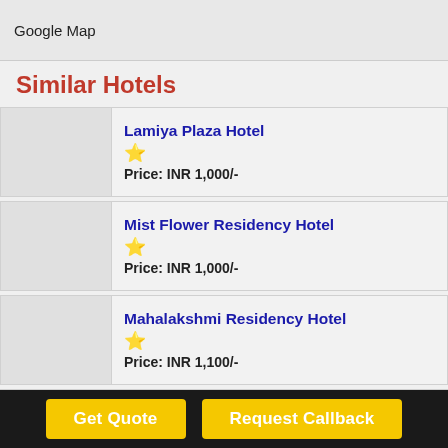Google Map
Similar Hotels
Lamiya Plaza Hotel
★
Price: INR 1,000/-
Mist Flower Residency Hotel
★
Price: INR 1,000/-
Mahalakshmi Residency Hotel
★
Price: INR 1,100/-
Mahalaxmi Residency Hotel
★
Price: INR 1,100/-
Get Quote | Request Callback